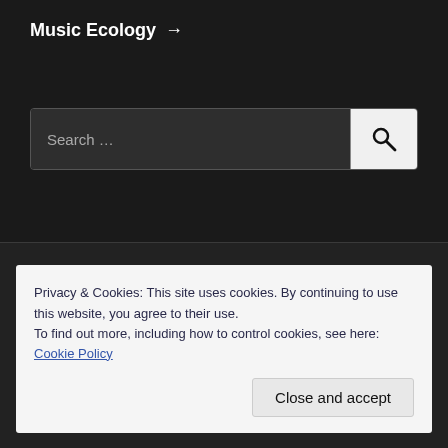Music Ecology →
[Figure (screenshot): Search bar with text 'Search ...' and a search button with magnifying glass icon]
Privacy & Cookies: This site uses cookies. By continuing to use this website, you agree to their use.
To find out more, including how to control cookies, see here: Cookie Policy
Close and accept